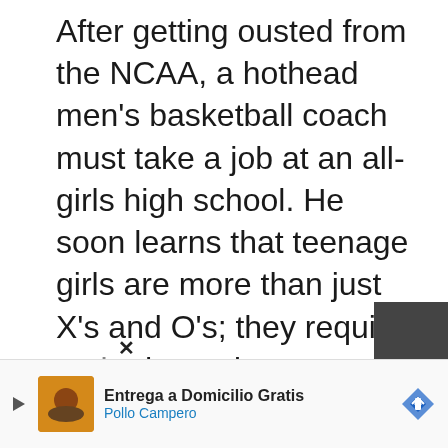After getting ousted from the NCAA, a hothead men's basketball coach must take a job at an all-girls high school. He soon learns that teenage girls are more than just X's and O's; they require empathy and vulnerability — foreign concepts for the stoic Coach Korn (John Stamos). By learning how to connect with his players, Marvyn starts to grow into the person he's always hoped to be. The girls learn to take themselves more seri… and…
[Figure (screenshot): Advertisement overlay at the bottom of the page: Entrega a Domicilio Gratis / Pollo Campero, with play button, food image, and navigation arrow]